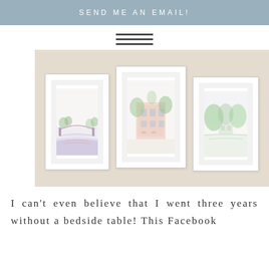SEND ME AN EMAIL!
[Figure (illustration): Hamburger menu icon with three horizontal dark lines]
[Figure (photo): Three framed watercolor art prints hung on a beige/cream wall. The left print shows a colorful bridge or waterway scene in pink and blue hues. The middle print shows a building with trees in pastel colors. The right print shows a green landscape or garden scene.]
I can't even believe that I went three years without a bedside table! This Facebook